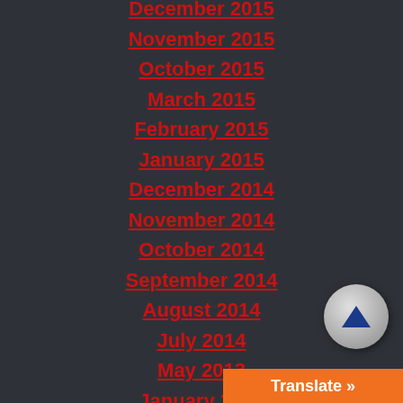December 2015
November 2015
October 2015
March 2015
February 2015
January 2015
December 2014
November 2014
October 2014
September 2014
August 2014
July 2014
May 2013
January 2012
June 2010
[Figure (other): Scroll to top button - circular grey button with upward arrow]
Translate »